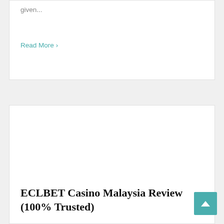given...
Read More ›
ECLBET Casino Malaysia Review (100% Trusted)